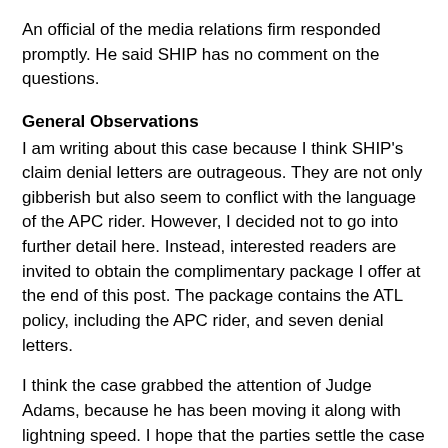An official of the media relations firm responded promptly. He said SHIP has no comment on the questions.
General Observations
I am writing about this case because I think SHIP's claim denial letters are outrageous. They are not only gibberish but also seem to conflict with the language of the APC rider. However, I decided not to go into further detail here. Instead, interested readers are invited to obtain the complimentary package I offer at the end of this post. The package contains the ATL policy, including the APC rider, and seven denial letters.
I think the case grabbed the attention of Judge Adams, because he has been moving it along with lightning speed. I hope that the parties settle the case quickly to avoid lengthy delays that would be caused by discovery efforts and a jury trial.
In addition to the White case, I am aware of only two other lawsuits ever filed against SHIP relating to claims practices. I